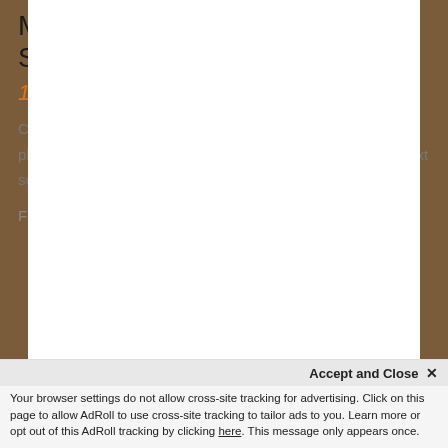[Figure (photo): Product photo of Mosaic Plague Doctor Valhalla Screen - a blue mosaic decorative screen shown on a dark device frame]
Mosaic Plague Doctor Valhalla Screen
1 Available
Crafted in Maple with Mosaic finish. Instill AWE in your players by having this amazing centerpiece on your table next session. Features Straight top cut.
Features:
Accept and Close ×
Your browser settings do not allow cross-site tracking for advertising. Click on this page to allow AdRoll to use cross-site tracking to tailor ads to you. Learn more or opt out of this AdRoll tracking by clicking here. This message only appears once.